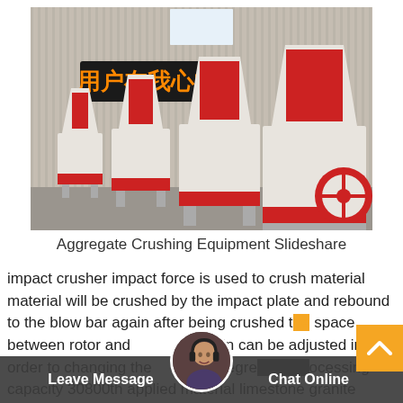[Figure (photo): Row of white industrial impact crushers with red accents lined up inside a warehouse/factory. A red LED sign with Chinese characters '用户在我心中' is visible in the background.]
Aggregate Crushing Equipment Slideshare
impact crusher impact force is used to crush material material will be crushed by the impact plate and rebound to the blow bar again after being crushed the space between rotor and impact curtain can be adjusted in order to changing the crushing degree but processing capacity 30800th applied material limestone granite